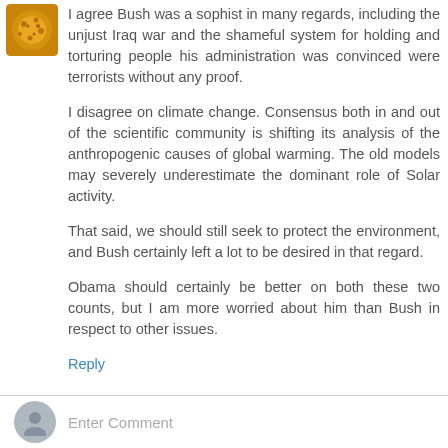[Figure (photo): Round avatar image with golden/orange tone, likely a cookie or profile image]
I agree Bush was a sophist in many regards, including the unjust Iraq war and the shameful system for holding and torturing people his administration was convinced were terrorists without any proof.
I disagree on climate change. Consensus both in and out of the scientific community is shifting its analysis of the anthropogenic causes of global warming. The old models may severely underestimate the dominant role of Solar activity.
That said, we should still seek to protect the environment, and Bush certainly left a lot to be desired in that regard.
Obama should certainly be better on both these two counts, but I am more worried about him than Bush in respect to other issues.
Reply
Enter Comment